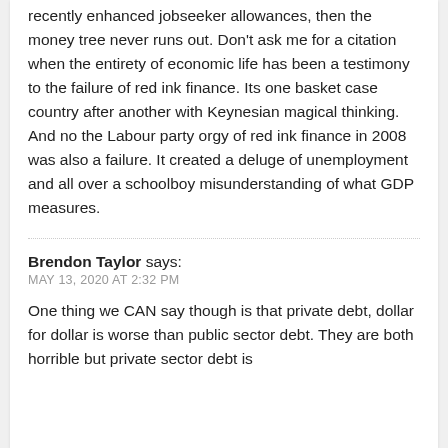recently enhanced jobseeker allowances, then the money tree never runs out. Don't ask me for a citation when the entirety of economic life has been a testimony to the failure of red ink finance. Its one basket case country after another with Keynesian magical thinking. And no the Labour party orgy of red ink finance in 2008 was also a failure. It created a deluge of unemployment and all over a schoolboy misunderstanding of what GDP measures.
Brendon Taylor says: MAY 13, 2020 AT 2:32 PM
One thing we CAN say though is that private debt, dollar for dollar is worse than public sector debt. They are both horrible but private sector debt is